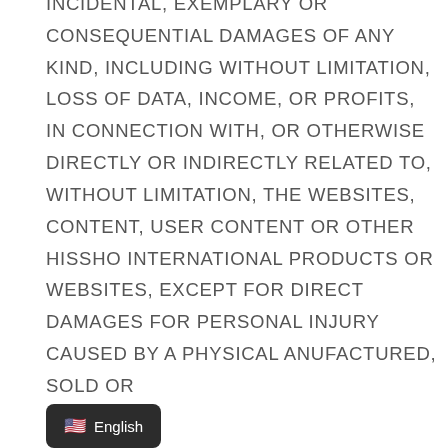INCIDENTAL, EXEMPLARY OR CONSEQUENTIAL DAMAGES OF ANY KIND, INCLUDING WITHOUT LIMITATION, LOSS OF DATA, INCOME, OR PROFITS, IN CONNECTION WITH, OR OTHERWISE DIRECTLY OR INDIRECTLY RELATED TO, WITHOUT LIMITATION, THE WEBSITES, CONTENT, USER CONTENT OR OTHER HISSHO INTERNATIONAL PRODUCTS OR WEBSITES, EXCEPT FOR DIRECT DAMAGES FOR PERSONAL INJURY CAUSED BY A PHYSICAL [M]ANUFACTURED, SOLD OR
English